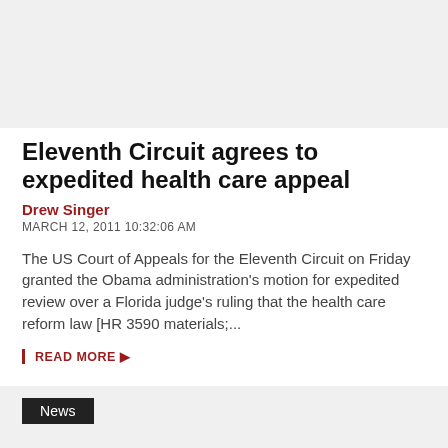[Figure (other): Gray banner/header area at top of page]
Eleventh Circuit agrees to expedited health care appeal
Drew Singer
MARCH 12, 2011 10:32:06 AM
The US Court of Appeals for the Eleventh Circuit on Friday granted the Obama administration's motion for expedited review over a Florida judge's ruling that the health care reform law [HR 3590 materials;...
READ MORE ▶
News